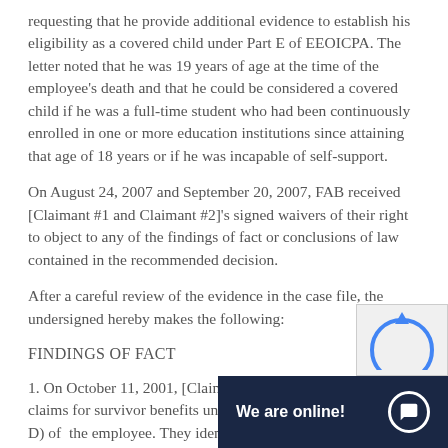requesting that he provide additional evidence to establish his eligibility as a covered child under Part E of EEOICPA. The letter noted that he was 19 years of age at the time of the employee's death and that he could be considered a covered child if he was a full-time student who had been continuously enrolled in one or more education institutions since attaining that age of 18 years or if he was incapable of self-support.
On August 24, 2007 and September 20, 2007, FAB received [Claimant #1 and Claimant #2]'s signed waivers of their right to object to any of the findings of fact or conclusions of law contained in the recommended decision.
After a careful review of the evidence in the case file, the undersigned hereby makes the following:
FINDINGS OF FACT
1. On October 11, 2001, [Claimant #1 and Claimant #2] filed claims for survivor benefits under Parts B and E (formerly Part D) of EEOICPA as survivors of the employee. They iden…